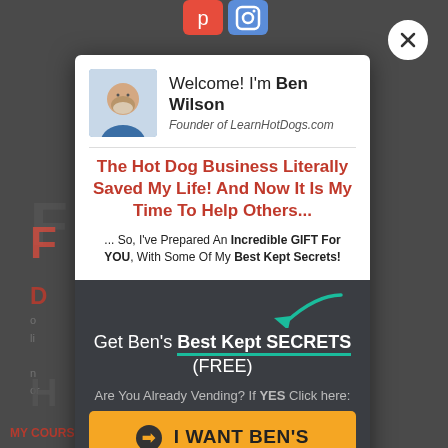[Figure (screenshot): Website popup modal screenshot on a dark background. Shows Ben Wilson's profile with avatar photo, headline about hot dog business, and call-to-action buttons. Background shows partial webpage content.]
Welcome! I'm Ben Wilson
Founder of LearnHotDogs.com
The Hot Dog Business Literally Saved My Life! And Now It Is My Time To Help Others...
... So, I've Prepared An Incredible GIFT For YOU, With Some Of My Best Kept Secrets!
Get Ben's Best Kept SECRETS (FREE)
Are You Already Vending? If YES Click here:
⊙ I WANT BEN'S SECRETS
If NOT YET Click here: